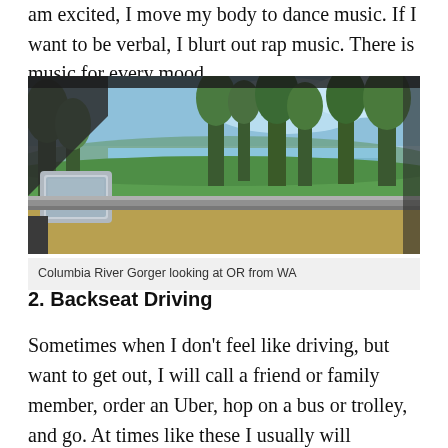am excited, I move my body to dance music. If I want to be verbal, I blurt out rap music. There is music for every mood.
[Figure (photo): View from inside a car window showing the Columbia River Gorge with trees, water, blue sky, and a metal guardrail in the foreground. Side mirror visible on the left.]
Columbia River Gorger looking at OR from WA
2. Backseat Driving
Sometimes when I don't feel like driving, but want to get out, I will call a friend or family member, order an Uber, hop on a bus or trolley, and go. At times like these I usually will